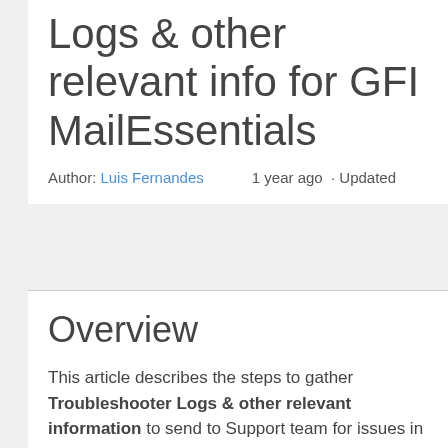Logs & other relevant info for GFI MailEssentials
Author: Luis Fernandes   1 year ago · Updated
Overview
This article describes the steps to gather Troubleshooter Logs & other relevant information to send to Support team for issues in